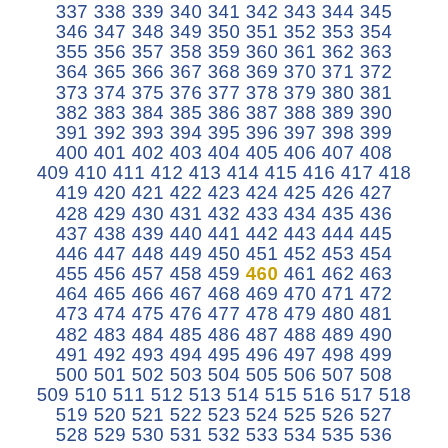337 338 339 340 341 342 343 344 345 346 347 348 349 350 351 352 353 354 355 356 357 358 359 360 361 362 363 364 365 366 367 368 369 370 371 372 373 374 375 376 377 378 379 380 381 382 383 384 385 386 387 388 389 390 391 392 393 394 395 396 397 398 399 400 401 402 403 404 405 406 407 408 409 410 411 412 413 414 415 416 417 418 419 420 421 422 423 424 425 426 427 428 429 430 431 432 433 434 435 436 437 438 439 440 441 442 443 444 445 446 447 448 449 450 451 452 453 454 455 456 457 458 459 460 461 462 463 464 465 466 467 468 469 470 471 472 473 474 475 476 477 478 479 480 481 482 483 484 485 486 487 488 489 490 491 492 493 494 495 496 497 498 499 500 501 502 503 504 505 506 507 508 509 510 511 512 513 514 515 516 517 518 519 520 521 522 523 524 525 526 527 528 529 530 531 532 533 534 535 536